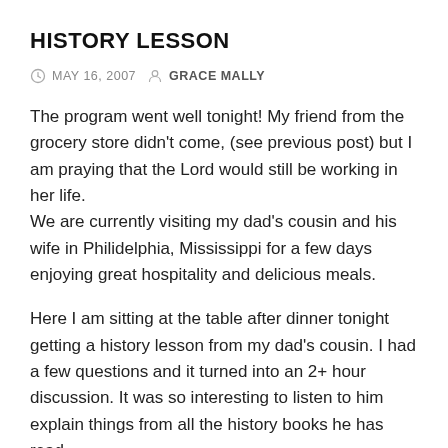HISTORY LESSON
MAY 16, 2007   GRACE MALLY
The program went well tonight! My friend from the grocery store didn't come, (see previous post) but I am praying that the Lord would still be working in her life.
We are currently visiting my dad's cousin and his wife in Philidelphia, Mississippi for a few days enjoying great hospitality and delicious meals.
Here I am sitting at the table after dinner tonight getting a history lesson from my dad's cousin. I had a few questions and it turned into an 2+ hour discussion. It was so interesting to listen to him explain things from all the history books he has read.
It's amazing how much quicker you can learn something